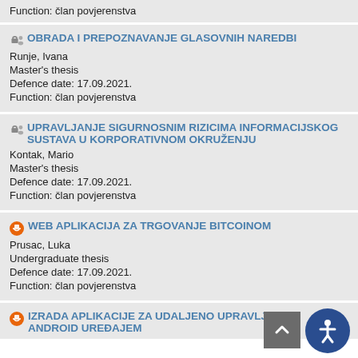Function: član povjerenstva
OBRADA I PREPOZNAVANJE GLASOVNIH NAREDBI
Runje, Ivana
Master's thesis
Defence date: 17.09.2021.
Function: član povjerenstva
UPRAVLJANJE SIGURNOSNIM RIZICIMA INFORMACIJSKOG SUSTAVA U KORPORATIVNOM OKRUŽENJU
Kontak, Mario
Master's thesis
Defence date: 17.09.2021.
Function: član povjerenstva
WEB APLIKACIJA ZA TRGOVANJE BITCOINOM
Prusac, Luka
Undergraduate thesis
Defence date: 17.09.2021.
Function: član povjerenstva
IZRADA APLIKACIJE ZA UDALJENO UPRAVLJANJE ANDROID UREĐAJEM